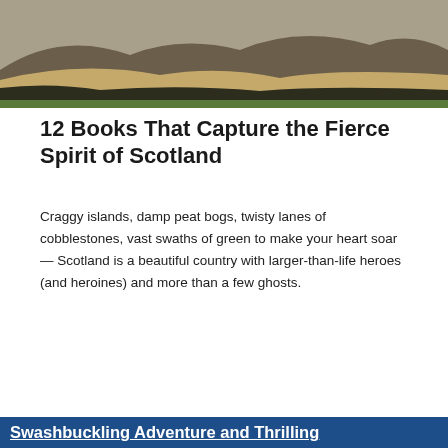[Figure (photo): A landscape photo showing sandy dunes, dark green/black hillside vegetation, and a grey-brown mountain or hillside in the background under an overcast sky.]
12 Books That Capture the Fierce Spirit of Scotland
Craggy islands, damp peat bogs, twisty lanes of cobblestones, vast swaths of green to make your heart soar — Scotland is a beautiful country with larger-than-life heroes (and heroines) and more than a few ghosts.
[Figure (photo): A dramatic photograph of a ruined castle (Dunnottar Castle) perched on rocky green cliffs above a stormy grey-blue sea, with waves crashing on rocks below.]
Swashbuckling Adventure and Thrilling...